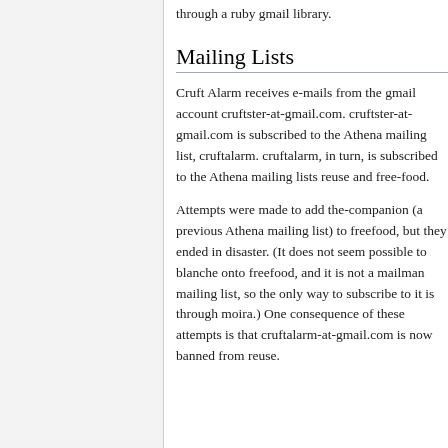through a ruby gmail library.
Mailing Lists
Cruft Alarm receives e-mails from the gmail account cruftster-at-gmail.com. cruftster-at-gmail.com is subscribed to the Athena mailing list, cruftalarm. cruftalarm, in turn, is subscribed to the Athena mailing lists reuse and free-food.
Attempts were made to add the-companion (a previous Athena mailing list) to freefood, but they ended in disaster. (It does not seem possible to blanche onto freefood, and it is not a mailman mailing list, so the only way to subscribe to it is through moira.) One consequence of these attempts is that cruftalarm-at-gmail.com is now banned from reuse.